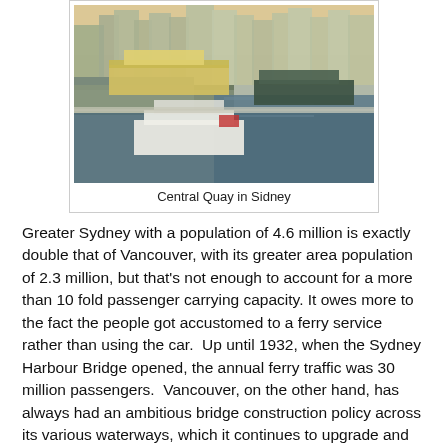[Figure (photo): Aerial photo of Central Quay (Circular Quay) in Sydney showing multiple ferries docked at the terminal with city buildings in the background and water in the foreground.]
Central Quay in Sidney
Greater Sydney with a population of 4.6 million is exactly double that of Vancouver, with its greater area population of 2.3 million, but that's not enough to account for a more than 10 fold passenger carrying capacity. It owes more to the fact the people got accustomed to a ferry service rather than using the car.  Up until 1932, when the Sydney Harbour Bridge opened, the annual ferry traffic was 30 million passengers.  Vancouver, on the other hand, has always had an ambitious bridge construction policy across its various waterways, which it continues to upgrade and expand upon